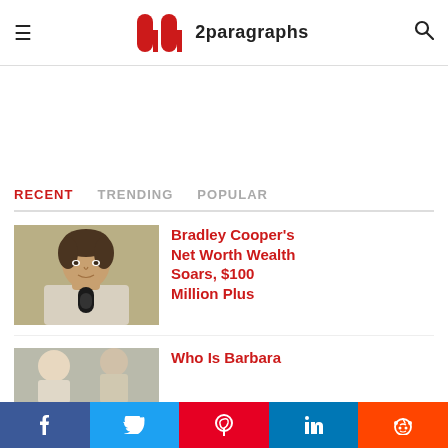2paragraphs
RECENT   TRENDING   POPULAR
[Figure (photo): Man holding a microphone, brunette, wearing a white shirt, blurred background]
Bradley Cooper’s Net Worth Wealth Soars, $100 Million Plus
[Figure (photo): Partial view of a person, partially cut off at bottom of page]
Who Is Barbara
Facebook  Twitter  Pinterest  LinkedIn  Reddit